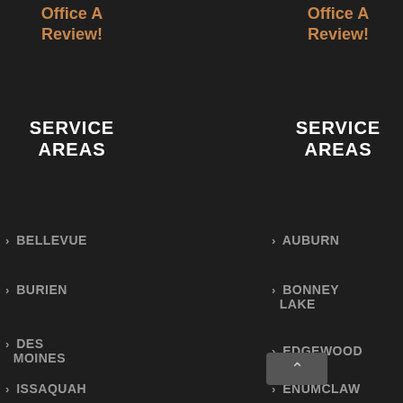Office A Review!
Office A Review!
Remote Rodent Monitoring: Norway Rat Test Sites
SERVICE AREAS
SERVICE AREAS
November 26, 2021
BELLEVUE
AUBURN
BURIEN
BONNEY LAKE
Remote Rodent Monitoring: Initial Results
DES MOINES
EDGEWOOD
October 28, 2021
ISSAQUAH
ENUMCLAW